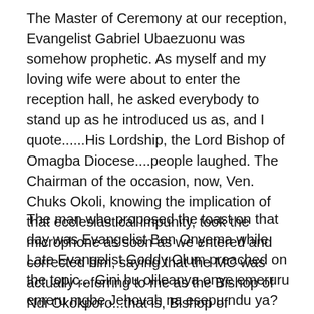The Master of Ceremony at our reception, Evangelist Gabriel Ubaezuonu was somehow prophetic. As myself and my loving wife were about to enter the reception hall, he asked everybody to stand up as he introduced us as, and I quote......His Lordship, the Lord Bishop of Omagba Diocese....people laughed. The Chairman of the occasion, now, Ven. Chuks Okoli, knowing the implication of that ecclesiastical impunity, took the microphone as soon as we entered and corrected him, saying that the MC was actually referring to me as the Bishop of Ndi Okokporo...that is, Bishop of Bachelors.
The man who proposed the toast on that day was Evangelist Ben Onyema while Late Evangelist Goddy Olum preached on the topic... Gini bu olileanya onye emeruru emeru mgbe Jehovah na esepu ndu ya? One of the most powerful salvation messages I ever listened to